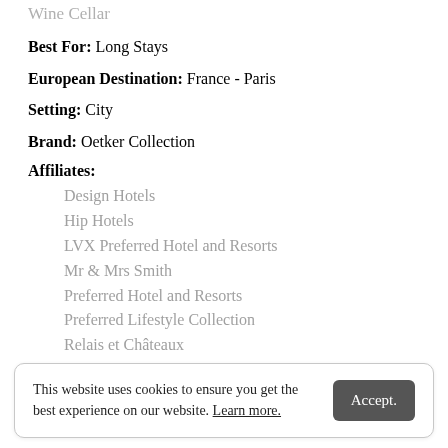Wine Cellar
Best For: Long Stays
European Destination: France - Paris
Setting: City
Brand: Oetker Collection
Affiliates:
Design Hotels
Hip Hotels
LVX Preferred Hotel and Resorts
Mr & Mrs Smith
Preferred Hotel and Resorts
Preferred Lifestyle Collection
Relais et Châteaux
This website uses cookies to ensure you get the best experience on our website. Learn more.